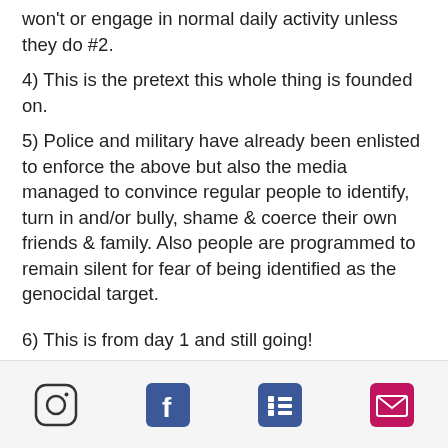won't or engage in normal daily activity unless they do #2.
4) This is the pretext this whole thing is founded on.
5) Police and military have already been enlisted to enforce the above but also the media managed to convince regular people to identify, turn in and/or bully, shame & coerce their own friends & family. Also people are programmed to remain silent for fear of being identified as the genocidal target.
6) This is from day 1 and still going!
7) People have been programmed from the i...
[Figure (infographic): Bottom app footer bar with four social/share icons: Instagram (circle with camera outline), Facebook (blue square with f), a list/menu icon (blue square with lines), and an email/envelope icon (pink/red square with envelope)]